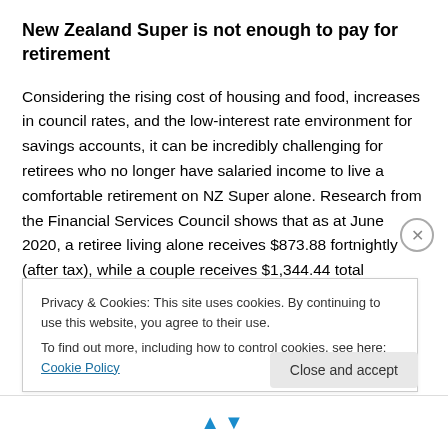New Zealand Super is not enough to pay for retirement
Considering the rising cost of housing and food, increases in council rates, and the low-interest rate environment for savings accounts, it can be incredibly challenging for retirees who no longer have salaried income to live a comfortable retirement on NZ Super alone. Research from the Financial Services Council shows that as at June 2020, a retiree living alone receives $873.88 fortnightly (after tax), while a couple receives $1,344.44 total
Privacy & Cookies: This site uses cookies. By continuing to use this website, you agree to their use.
To find out more, including how to control cookies, see here: Cookie Policy